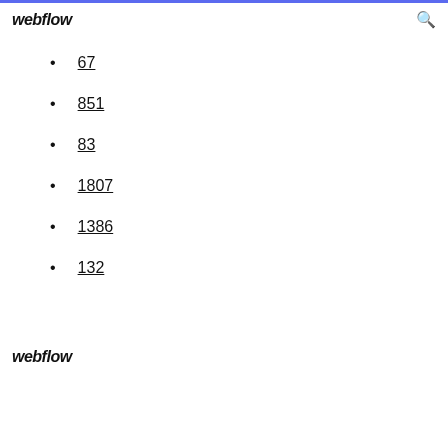webflow
67
851
83
1807
1386
132
webflow